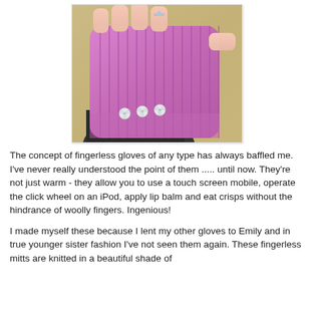[Figure (photo): A pair of pink/purple fingerless knitted gloves being worn, displayed on a wooden surface. The gloves have ribbed texture and small flower-shaped buttons near the wrist.]
The concept of fingerless gloves of any type has always baffled me. I've never really understood the point of them ..... until now. They're not just warm - they allow you to use a touch screen mobile, operate the click wheel on an iPod, apply lip balm and eat crisps without the hindrance of woolly fingers. Ingenious!
I made myself these because I lent my other gloves to Emily and in true younger sister fashion I've not seen them again. These fingerless mitts are knitted in a beautiful shade of pink...